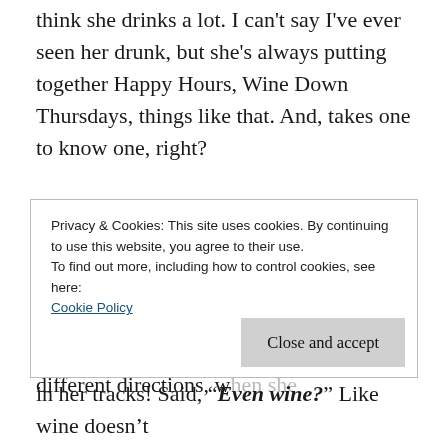think she drinks a lot. I can't say I've ever seen her drunk, but she's always putting together Happy Hours, Wine Down Thursdays, things like that. And, takes one to know one, right?
So, I see her today on my dog walk. We chat a bit and I'm telling her about an upcoming trip that I'm taking (more later). We start going our separate ways-in different directions, when she calls all in a rush-
Privacy & Cookies: This site uses cookies. By continuing to use this website, you agree to their use. To find out more, including how to control cookies, see here: Cookie Policy
Close and accept
in her tracks! Said, "Even wine?" Like wine doesn't